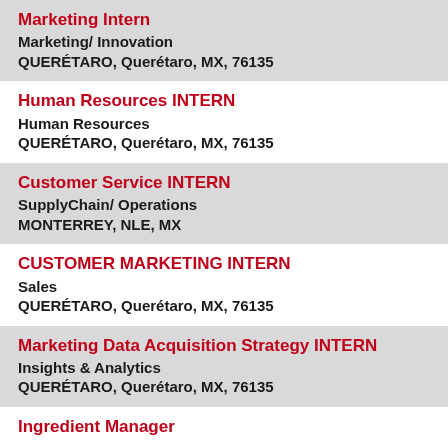Marketing Intern
Marketing/ Innovation
QUERÉTARO, Querétaro, MX, 76135
Human Resources INTERN
Human Resources
QUERÉTARO, Querétaro, MX, 76135
Customer Service INTERN
SupplyChain/ Operations
MONTERREY, NLE, MX
CUSTOMER MARKETING INTERN
Sales
QUERÉTARO, Querétaro, MX, 76135
Marketing Data Acquisition Strategy INTERN
Insights & Analytics
QUERÉTARO, Querétaro, MX, 76135
Ingredient Manager